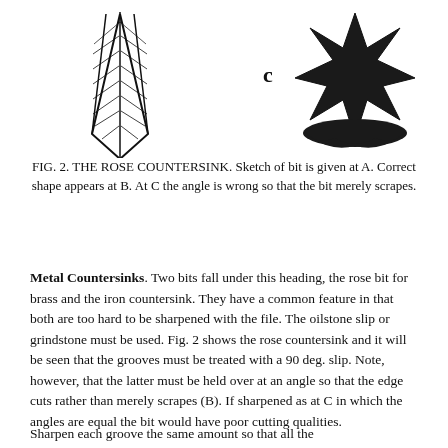[Figure (illustration): Two engineering illustrations: on the left (A) a rose countersink bit shown in sketch form with hatching/cross-hatching indicating the grooves; on the right labeled C, a star-burst shaped illustration showing the incorrect angle of the countersink bit.]
FIG. 2. THE ROSE COUNTERSINK. Sketch of bit is given at A. Correct shape appears at B. At C the angle is wrong so that the bit merely scrapes.
Metal Countersinks. Two bits fall under this heading, the rose bit for brass and the iron countersink. They have a common feature in that both are too hard to be sharpened with the file. The oilstone slip or grindstone must be used. Fig. 2 shows the rose countersink and it will be seen that the grooves must be treated with a 90 deg. slip. Note, however, that the latter must be held over at an angle so that the edge cuts rather than merely scrapes (B). If sharpened as at C in which the angles are equal the bit would have poor cutting qualities.
Sharpen each groove the same amount so that all the